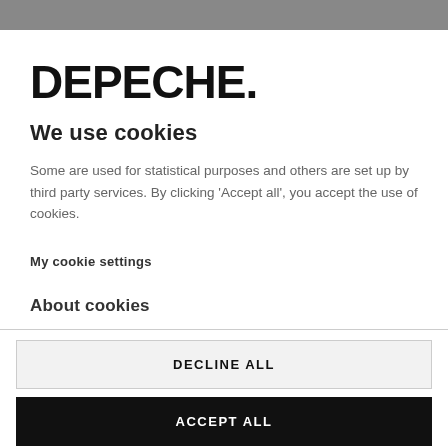DEPECHE.
We use cookies
Some are used for statistical purposes and others are set up by third party services. By clicking 'Accept all', you accept the use of cookies.
My cookie settings
About cookies
DECLINE ALL
ACCEPT ALL